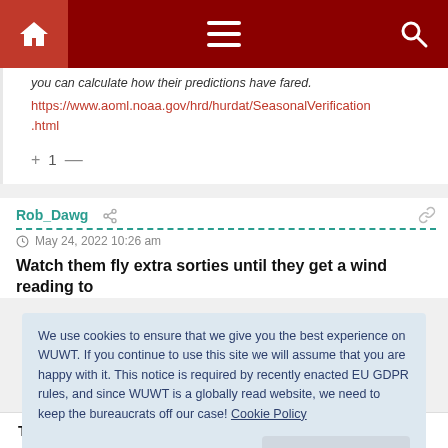Navigation bar with home, menu, and search icons
you can calculate how their predictions have fared.
https://www.aoml.noaa.gov/hrd/hurdat/SeasonalVerification.html
+ 1 —
Rob_Dawg
May 24, 2022 10:26 am
Watch them fly extra sorties until they get a wind reading to
We use cookies to ensure that we give you the best experience on WUWT. If you continue to use this site we will assume that you are happy with it. This notice is required by recently enacted EU GDPR rules, and since WUWT is a globally read website, we need to keep the bureaucrats off our case! Cookie Policy
Close and accept
Those extra sorties are needed to keep the crews out of